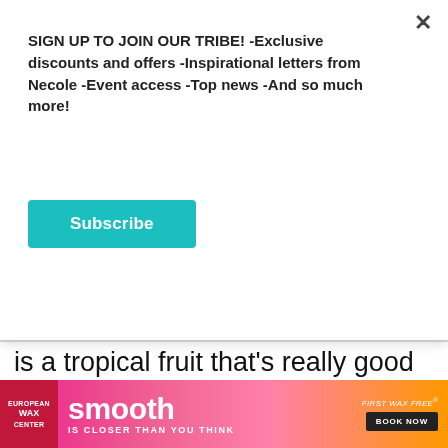SIGN UP TO JOIN OUR TRIBE! -Exclusive discounts and offers -Inspirational letters from Necole -Event access -Top news -And so much more!
[Figure (other): Teal Subscribe button]
is a tropical fruit that's really good for you because it's high in Vitamin C, potassium and fiber. It is able to help to lower your blood sugar levels, improve your heart health, b... strengthen your im... of period cramps (h...
One of the best thin...
[Figure (other): Advertisement banner for European Wax Center featuring 'smooth IS CLOSER THAN YOU THINK' with 'FIRST WAX FREE BOOK NOW' call to action, pink/orange gradient background.]